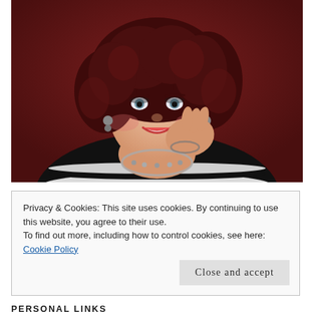[Figure (photo): Professional headshot of a woman with curly dark red hair, wearing a black and white striped top and pearl necklace, posing with hand near face against a dark red background, smiling at the camera.]
Privacy & Cookies: This site uses cookies. By continuing to use this website, you agree to their use.
To find out more, including how to control cookies, see here: Cookie Policy
Close and accept
PERSONAL LINKS